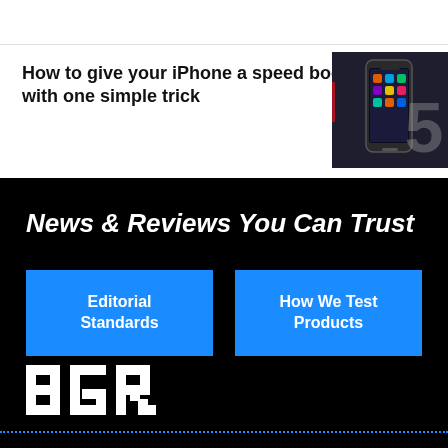How to give your iPhone a speed boost with one simple trick
[Figure (photo): iPhone displayed against dark background, showing home screen with app icons]
News & Reviews You Can Trust
Editorial Standards
How We Test Products
[Figure (logo): BGR logo in white bold text on black background]